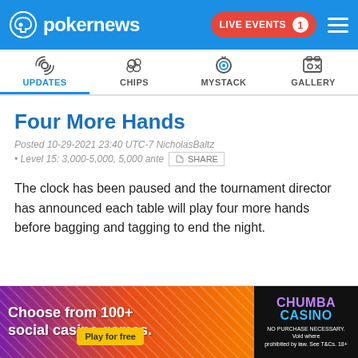pokernews — LIVE EVENTS 1
UPDATES | CHIPS | MYSTACK | GALLERY
Four More Hands
Posted 10-29-2021 23:40 UTC-7 NicholasBaltz • Level 15: 3,000-5,000, 5,000 ante SHARE
The clock has been paused and the tournament director has announced each table will play four more hands before bagging and tagging to end the night.
[Figure (screenshot): Advertisement banner: Choose from 100+ social casino games. Chumba Casino. Play for free. No purchase necessary.]